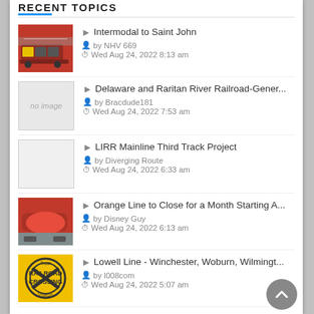RECENT TOPICS
Intermodal to Saint John | by NHV 669 | Wed Aug 24, 2022 8:13 am
Delaware and Raritan River Railroad-Gener... | by Bracdude181 | Wed Aug 24, 2022 7:53 am
LIRR Mainline Third Track Project | by Diverging Route | Wed Aug 24, 2022 6:33 am
Orange Line to Close for a Month Starting A... | by Disney Guy | Wed Aug 24, 2022 6:13 am
Lowell Line - Winchester, Woburn, Wilmingt... | by l008com | Wed Aug 24, 2022 5:07 am
JOIN US ON TWITTER @RAILROADNET
CSX Re-Double-Tracking in 1997 - In 1997, CSX was re-installing the second track on their former B&O mainline betwe...